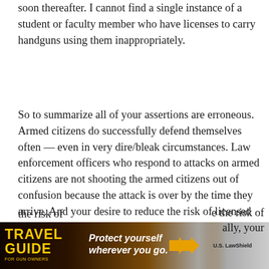soon thereafter. I cannot find a single instance of a student or faculty member who have licenses to carry handguns using them inappropriately.
So to summarize all of your assertions are erroneous. Armed citizens do successfully defend themselves often — even in very dire/bleak circumstances. Law enforcement officers who respond to attacks on armed citizens are not shooting the armed citizens out of confusion because the attack is over by the time they arrive. And your desire to reduce the risk of licensed concealed handgun carriers shooting innocent victims on campus is meaningless because there is no risk — it ... e the risk of ... ally, your
[Figure (other): Advertisement banner for 'Travel Guide for Gun Owners' featuring 'Protect yourself wherever you go.' text with US LawShield branding, dark background with orange/yellow text and arrow play buttons.]